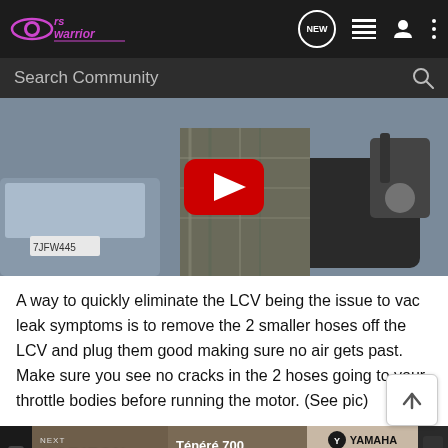rs warrior — navigation bar with NEW, list, user, and menu icons
[Figure (screenshot): Search Community search bar with magnifying glass icon on dark background]
[Figure (photo): YouTube video thumbnail showing a person in plaid shirt leaning over a motorcycle; red YouTube play button in center. License plate 7JFW445 visible on car.]
A way to quickly eliminate the LCV being the issue to vac leak symptoms is to remove the 2 smaller hoses off the LCV and plug them good making sure no air gets past. Make sure you see no cracks in the 2 hoses going to your throttle bodies before running the motor. (See pic)
[Figure (screenshot): Yamaha advertisement banner: NEXT HORIZON / Ténéré 700. The Next Horizon is yours. LEARN MORE with Yamaha logo.]